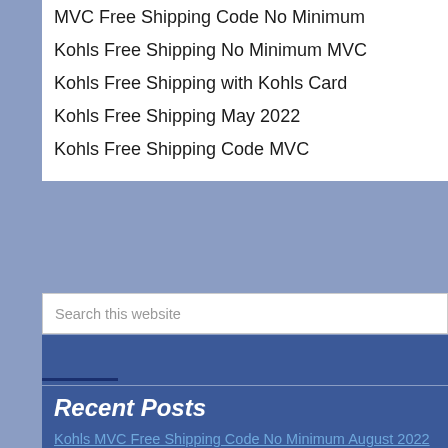MVC Free Shipping Code No Minimum
Kohls Free Shipping No Minimum MVC
Kohls Free Shipping with Kohls Card
Kohls Free Shipping May 2022
Kohls Free Shipping Code MVC
Search this website
Recent Posts
Kohls MVC Free Shipping Code No Minimum August 2022
Cabelas Coupons & Promo Codes 2021
4Inkjets Coupons & Promo Codes 2021
Overstock Coupons & Promo Codes 2021
Nutrisystem Promo Code for Second Order